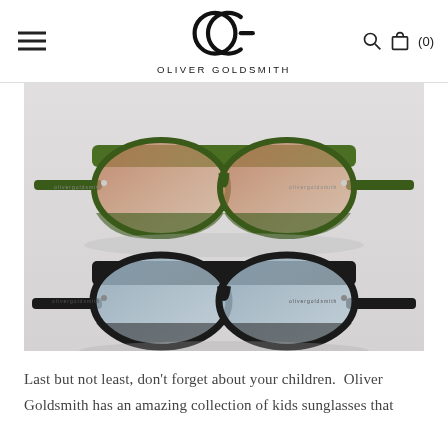OLIVER GOLDSMITH
[Figure (photo): Two pairs of Oliver Goldsmith sunglasses stacked vertically: top pair has an olive green frame with brown gradient lenses (aviator style); bottom pair has a black frame with grey-blue lenses (similar aviator style). Both photographed on a white/grey background showing temples/arms extended.]
Last but not least, don't forget about your children.  Oliver Goldsmith has an amazing collection of kids sunglasses that